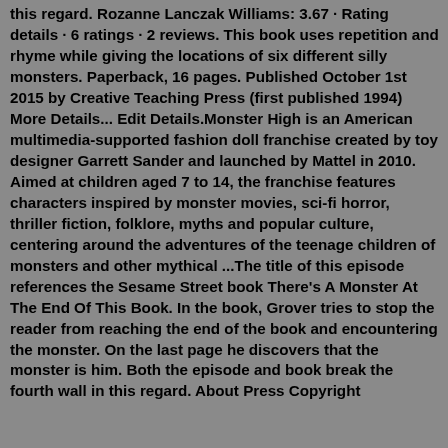this regard. Rozanne Lanczak Williams: 3.67 · Rating details · 6 ratings · 2 reviews. This book uses repetition and rhyme while giving the locations of six different silly monsters. Paperback, 16 pages. Published October 1st 2015 by Creative Teaching Press (first published 1994) More Details... Edit Details.Monster High is an American multimedia-supported fashion doll franchise created by toy designer Garrett Sander and launched by Mattel in 2010. Aimed at children aged 7 to 14, the franchise features characters inspired by monster movies, sci-fi horror, thriller fiction, folklore, myths and popular culture, centering around the adventures of the teenage children of monsters and other mythical ...The title of this episode references the Sesame Street book There's A Monster At The End Of This Book. In the book, Grover tries to stop the reader from reaching the end of the book and encountering the monster. On the last page he discovers that the monster is him. Both the episode and book break the fourth wall in this regard. About Press Copyright